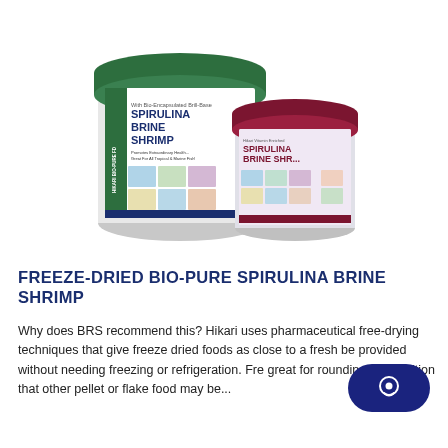[Figure (photo): Two canisters of Hikari Bio-Pure Freeze-Dried Spirulina Brine Shrimp fish food. The larger canister has a dark green lid and shows fish images on its label. The smaller canister has a dark red/maroon lid with a similar label showing fish images.]
FREEZE-DRIED BIO-PURE SPIRULINA BRINE SHRIMP
Why does BRS recommend this? Hikari uses pharmaceutical free-drying techniques that give freeze dried foods as close to a fresh be provided without needing freezing or refrigeration. Fre great for rounding out nutrition that other pellet or flake food may be...